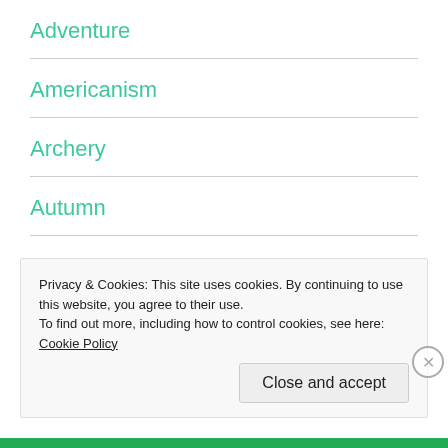Adventure
Americanism
Archery
Autumn
Deer Season
Dietary
Privacy & Cookies: This site uses cookies. By continuing to use this website, you agree to their use.
To find out more, including how to control cookies, see here: Cookie Policy
Close and accept